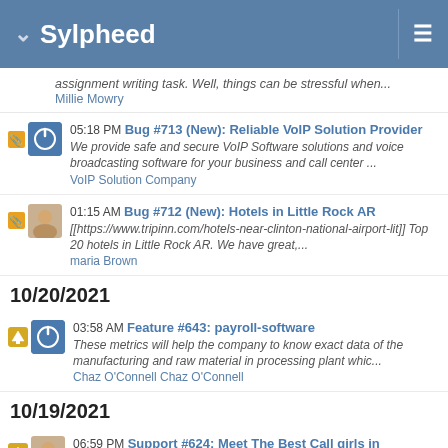Sylpheed
assignment writing task. Well, things can be stressful when...
Millie Mowry
05:18 PM Bug #713 (New): Reliable VoIP Solution Provider
We provide safe and secure VoIP Software solutions and voice broadcasting software for your business and call center ...
VoIP Solution Company
01:15 AM Bug #712 (New): Hotels in Little Rock AR
[[https://www.tripinn.com/hotels-near-clinton-national-airport-lit]] Top 20 hotels in Little Rock AR. We have great,...
maria Brown
10/20/2021
03:58 AM Feature #643: payroll-software
These metrics will help the company to know exact data of the manufacturing and raw material in processing plant whic...
Chaz O'Connell Chaz O'Connell
10/19/2021
06:59 PM Support #624: Meet The Best Call girls in bangalore and Date her
h1. Nikitha Bangalore Escorts
Get High Profile Independent Bangalore Escorts in Bangalore Contact us directly at 9...